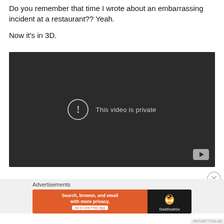Do you remember that time I wrote about an embarrassing incident at a restaurant?? Yeah.
Now it's in 3D.
[Figure (screenshot): Embedded video player showing 'This video is private' message with a YouTube logo in the bottom-right corner, on a dark background.]
Advertisements
[Figure (screenshot): DuckDuckGo advertisement banner: 'Search, browse, and email with more privacy. All in One Free App' on orange background with DuckDuckGo duck logo on dark right panel.]